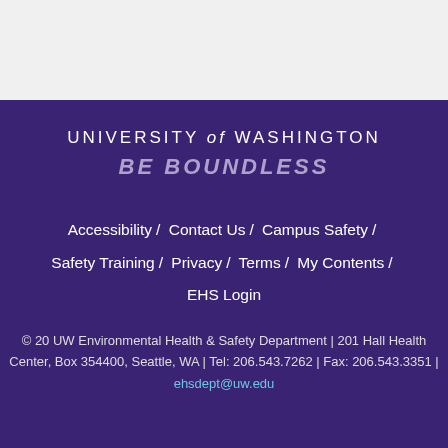UNIVERSITY of WASHINGTON
BE BOUNDLESS
Accessibility / Contact Us / Campus Safety / Safety Training / Privacy / Terms / My Contents / EHS Login
© 20 UW Environmental Health & Safety Department | 201 Hall Health Center, Box 354400, Seattle, WA | Tel: 206.543.7262 | Fax: 206.543.3351 | ehsdept@uw.edu